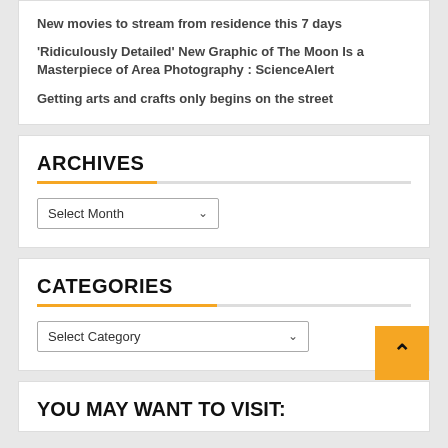New movies to stream from residence this 7 days
'Ridiculously Detailed' New Graphic of The Moon Is a Masterpiece of Area Photography : ScienceAlert
Getting arts and crafts only begins on the street
ARCHIVES
[Figure (other): Select Month dropdown UI element]
CATEGORIES
[Figure (other): Select Category dropdown UI element]
YOU MAY WANT TO VISIT: